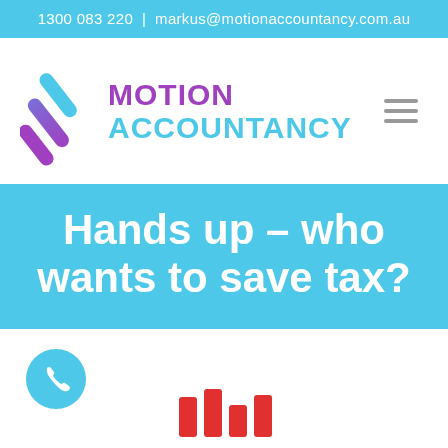1300 083 220 | markus@motionaccountancy.com.au
[Figure (logo): Motion Accountancy logo with stylized diagonal stripe marks in purple/blue gradient and bold text: MOTION ACCOUNTANCY]
Hands up – who wants to save tax?
[Figure (illustration): Teal circular phone/call button icon at bottom left, and partial red graphic at bottom center]